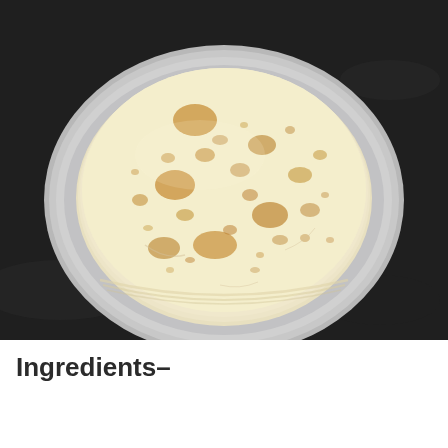[Figure (photo): Overhead view of a stack of freshly made rotis (flatbreads) with golden brown spots, placed on a round stainless steel plate, set on a dark black surface.]
Ingredients–